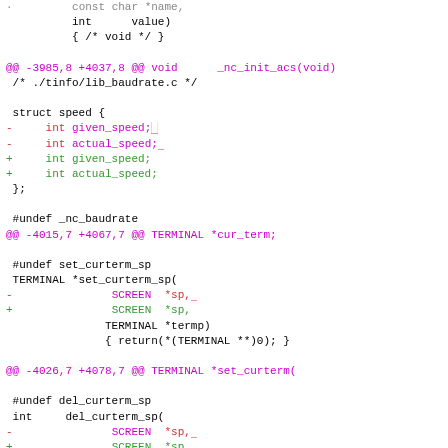Code diff showing changes to ncurses library files including lib_baudrate.c and terminal functions
@@ -3985,8 +4037,8 @@ void _nc_init_acs(void)
 /* ./tinfo/lib_baudrate.c */
 struct speed {
-     int given_speed;
-     int actual_speed;
+     int given_speed;
+     int actual_speed;
 };
 #undef _nc_baudrate
@@ -4015,7 +4067,7 @@ TERMINAL *cur_term;
 #undef set_curterm_sp
 TERMINAL *set_curterm_sp(
-                SCREEN  *sp,
+                SCREEN  *sp,
                 TERMINAL *termp)
                 { return(*(TERMINAL **)0); }
@@ -4026,7 +4078,7 @@ TERMINAL *set_curterm(
 #undef del_curterm_sp
 int     del_curterm_sp(
-                SCREEN  *sp,
+                SCREEN  *sp,
                 TERMINAL *termp)
                 { return(*(int *)0); }